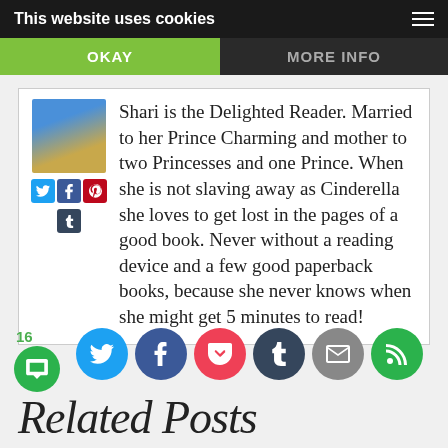This website uses cookies
OKAY
MORE INFO
Shari is the Delighted Reader. Married to her Prince Charming and mother to two Princesses and one Prince. When she is not slaving away as Cinderella she loves to get lost in the pages of a good book. Never without a reading device and a few good paperback books, because she never knows when she might get 5 minutes to read!
[Figure (infographic): Social sharing icons row: Twitter, Facebook, Pocket, Tumblr, Email, Feedly/subscribe. Share count 16 shown at left.]
Related Posts